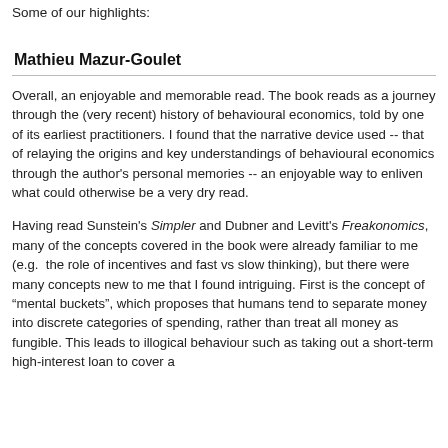Some of our highlights:
Mathieu Mazur-Goulet
Overall, an enjoyable and memorable read. The book reads as a journey through the (very recent) history of behavioural economics, told by one of its earliest practitioners. I found that the narrative device used -- that of relaying the origins and key understandings of behavioural economics through the author's personal memories -- an enjoyable way to enliven what could otherwise be a very dry read.
Having read Sunstein's Simpler and Dubner and Levitt's Freakonomics, many of the concepts covered in the book were already familiar to me (e.g.  the role of incentives and fast vs slow thinking), but there were many concepts new to me that I found intriguing. First is the concept of “mental buckets”, which proposes that humans tend to separate money into discrete categories of spending, rather than treat all money as fungible. This leads to illogical behaviour such as taking out a short-term high-interest loan to cover a